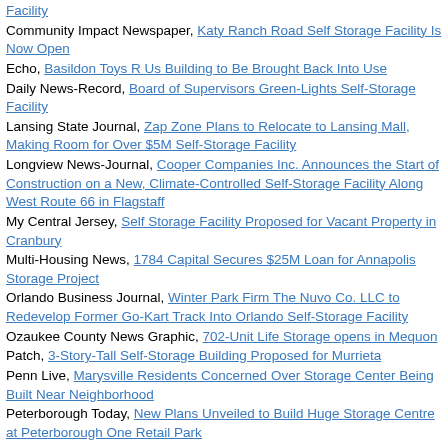Facility
Community Impact Newspaper, Katy Ranch Road Self Storage Facility Is Now Open
Echo, Basildon Toys R Us Building to Be Brought Back Into Use
Daily News-Record, Board of Supervisors Green-Lights Self-Storage Facility
Lansing State Journal, Zap Zone Plans to Relocate to Lansing Mall, Making Room for Over $5M Self-Storage Facility
Longview News-Journal, Cooper Companies Inc. Announces the Start of Construction on a New, Climate-Controlled Self-Storage Facility Along West Route 66 in Flagstaff
My Central Jersey, Self Storage Facility Proposed for Vacant Property in Cranbury
Multi-Housing News, 1784 Capital Secures $25M Loan for Annapolis Storage Project
Orlando Business Journal, Winter Park Firm The Nuvo Co. LLC to Redevelop Former Go-Kart Track Into Orlando Self-Storage Facility
Ozaukee County News Graphic, 702-Unit Life Storage opens in Mequon
Patch, 3-Story-Tall Self-Storage Building Proposed for Murrieta
Penn Live, Marysville Residents Concerned Over Storage Center Being Built Near Neighborhood
Peterborough Today, New Plans Unveiled to Build Huge Storage Centre at Peterborough One Retail Park